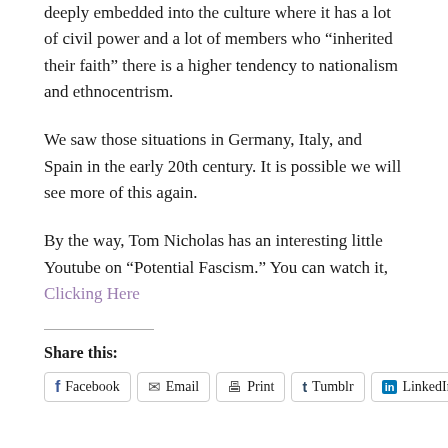deeply embedded into the culture where it has a lot of civil power and a lot of members who “inherited their faith” there is a higher tendency to nationalism and ethnocentrism.
We saw those situations in Germany, Italy, and Spain in the early 20th century. It is possible we will see more of this again.
By the way, Tom Nicholas has an interesting little Youtube on “Potential Fascism.” You can watch it, Clicking Here
Share this:
Facebook | Email | Print | Tumblr | LinkedIn